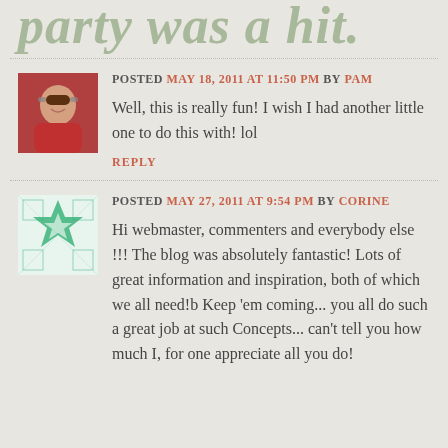party was a hit.
POSTED MAY 18, 2011 AT 11:50 PM BY PAM
Well, this is really fun! I wish I had another little one to do this with! lol
REPLY
POSTED MAY 27, 2011 AT 9:54 PM BY CORINE
Hi webmaster, commenters and everybody else !!! The blog was absolutely fantastic! Lots of great information and inspiration, both of which we all need!b Keep 'em coming... you all do such a great job at such Concepts... can't tell you how much I, for one appreciate all you do!